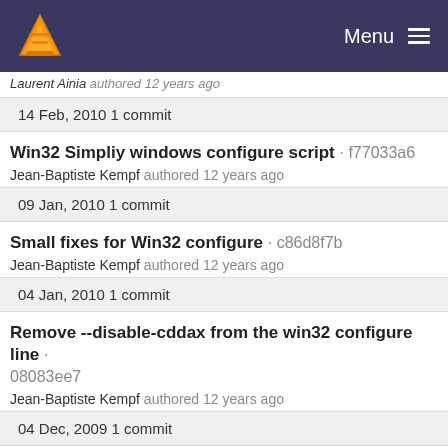Menu
Laurent Ainia authored 12 years ago
14 Feb, 2010 1 commit
Win32 Simpliy windows configure script · f77033a6
Jean-Baptiste Kempf authored 12 years ago
09 Jan, 2010 1 commit
Small fixes for Win32 configure · c86d8f7b
Jean-Baptiste Kempf authored 12 years ago
04 Jan, 2010 1 commit
Remove --disable-cddax from the win32 configure line · 08083ee7
Jean-Baptiste Kempf authored 12 years ago
04 Dec, 2009 1 commit
Merge FFmpeg on Windows · e222f54c